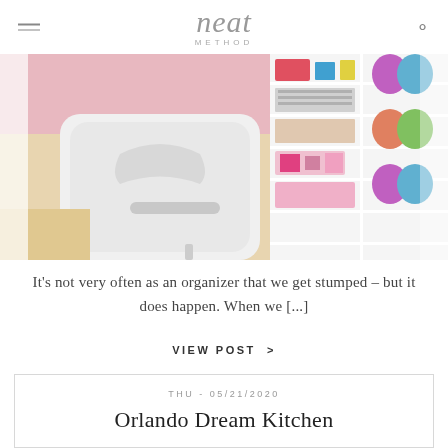neat METHOD
[Figure (photo): A craft room with a white chair in the foreground and organized shelving with colorful craft supplies, rolls of vinyl, and storage bins in the background.]
It's not very often as an organizer that we get stumped – but it does happen. When we [...]
VIEW POST >
THU - 05/21/2020
Orlando Dream Kitchen